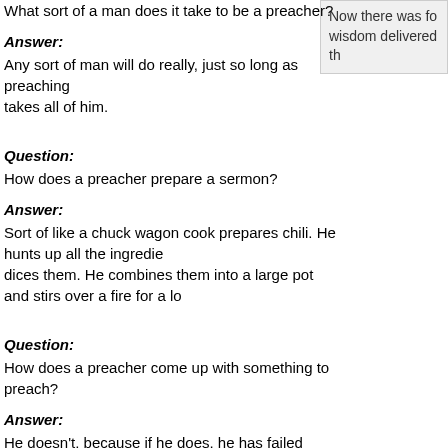What sort of a man does it take to be a preacher?
Now there was fo wisdom delivered th
Answer:
Any sort of man will do really, just so long as preaching takes all of him.
Question:
How does a preacher prepare a sermon?
Answer:
Sort of like a chuck wagon cook prepares chili. He hunts up all the ingredie dices them. He combines them into a large pot and stirs over a fire for a lo
Question:
How does a preacher come up with something to preach?
Answer:
He doesn't, because if he does, he has failed before he began. God has al they are to preach set down in proper order and organized into sixty-six bo in the front. Preach that.
Question:
How does a preacher come up with illustrations for sermons?